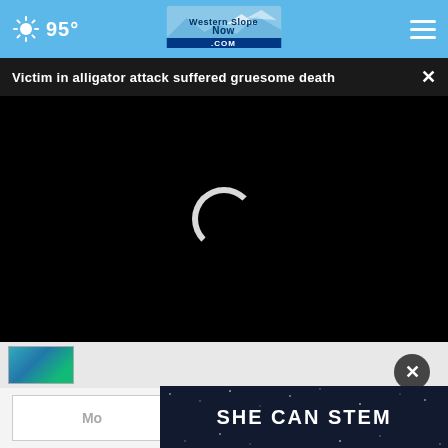95° Western Slope Now .com
Victim in alligator attack suffered gruesome death ×
[Figure (screenshot): Black video player area with loading spinner (white arc) centered]
[Figure (screenshot): Thumbnail strip with a small preview image on the left]
[Figure (screenshot): SHE CAN STEM advertisement banner with dark starfield background]